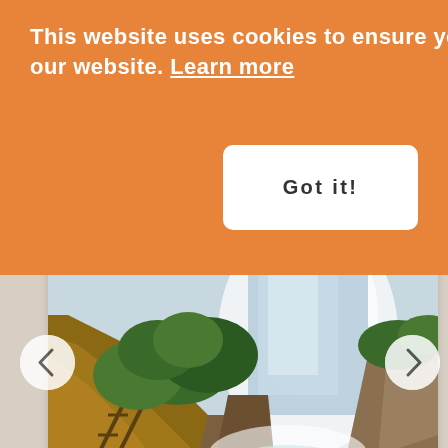This website uses cookies to ensure you get the best experience on our website. Learn more
Got it!
[Figure (photo): Aerial view of Victoria Falls waterfall with green vegetation and surrounding landscape]
Livingstone